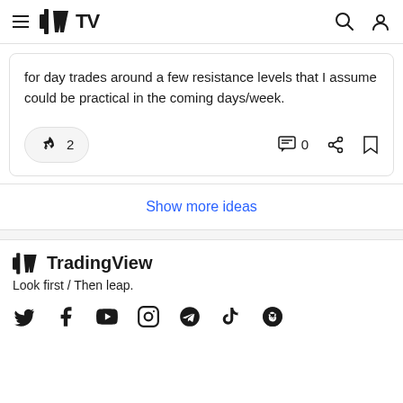TradingView
for day trades around a few resistance levels that I assume could be practical in the coming days/week.
Show more ideas
[Figure (logo): TradingView logo with rocket boost icon (2), comment icon (0), share icon, bookmark icon]
TradingView
Look first / Then leap.
[Figure (illustration): Social media icons: Twitter, Facebook, YouTube, Instagram, Telegram, TikTok, Reddit]